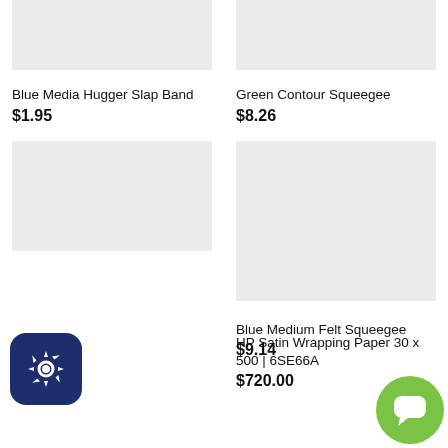[Figure (photo): Product image placeholder – light gray rectangle for Blue Media Hugger Slap Band]
Blue Media Hugger Slap Band
$1.95
[Figure (photo): Product image placeholder – light gray rectangle for Green Contour Squeegee]
Green Contour Squeegee
$8.26
[Figure (photo): Product image placeholder – light gray rectangle for Blue Medium Felt Squeegee]
Blue Medium Felt Squeegee
$9.14
[Figure (photo): Large product image placeholder – light gray rectangle for HP Satin Wrapping Paper 30 x 500 | 6SE66A]
HP Satin Wrapping Paper 30 x 500 | 6SE66A
$720.00
[Figure (logo): Dark blue rounded square icon with gear/settings emblem]
[Figure (logo): Green circle chat/message bubble icon]